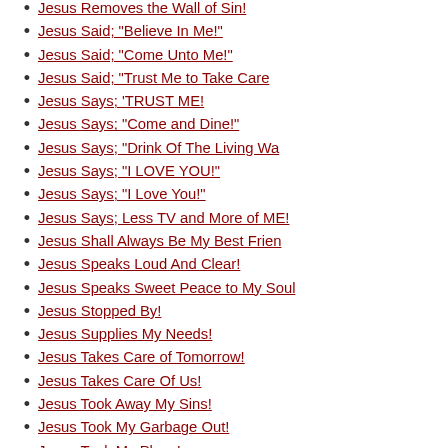Jesus Removes the Wall of Sin!
Jesus Said; "Believe In Me!"
Jesus Said; "Come Unto Me!"
Jesus Said; "Trust Me to Take Care
Jesus Says; 'TRUST ME!
Jesus Says; "Come and Dine!"
Jesus Says; "Drink Of The Living Wa
Jesus Says; "I LOVE YOU!"
Jesus Says; "I Love You!"
Jesus Says; Less TV and More of ME!
Jesus Shall Always Be My Best Frien
Jesus Speaks Loud And Clear!
Jesus Speaks Sweet Peace to My Soul
Jesus Stopped By!
Jesus Supplies My Needs!
Jesus Takes Care of Tomorrow!
Jesus Takes Care Of Us!
Jesus Took Away My Sins!
Jesus Took My Garbage Out!
Jesus Took My Place!
Jesus Took Our Place!
Jesus Took Our Place!
Jesus Touched My Soul!
Jesus Vision or Television???
Jesus Wants a Relationship with YOU
Jesus Wants Me to Follow Him!
Jesus Wants My FULL Attention!
Jesus Wants To Be With YOU!
Jesus Wants to Be Your Lord!
Jesus Wants To Heal You!
Jesus Wants to Help Me!